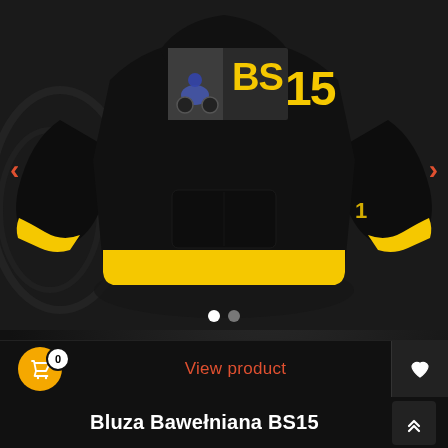[Figure (photo): A black hoodie with yellow accents (cuffs and bottom band), featuring a graphic on the chest with 'BS15' text in yellow and a speedway/motorcycle racing image. The hoodie is displayed against a dark background.]
View product
Bluza Bawełniana BS15